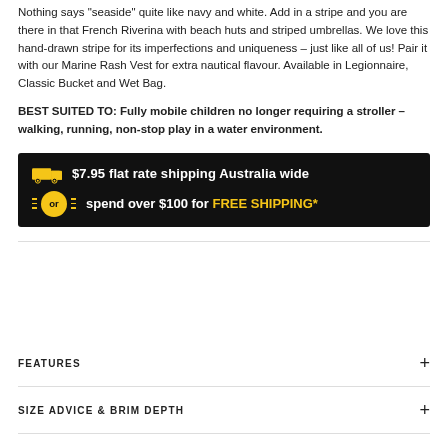Nothing says "seaside" quite like navy and white. Add in a stripe and you are there in that French Riverina with beach huts and striped umbrellas. We love this hand-drawn stripe for its imperfections and uniqueness – just like all of us! Pair it with our Marine Rash Vest for extra nautical flavour. Available in Legionnaire, Classic Bucket and Wet Bag.
BEST SUITED TO: Fully mobile children no longer requiring a stroller – walking, running, non-stop play in a water environment.
[Figure (infographic): Black banner with truck icon and text: $7.95 flat rate shipping Australia wide; or badge with yellow circle and text: spend over $100 for FREE SHIPPING*]
FEATURES
SIZE ADVICE & BRIM DEPTH